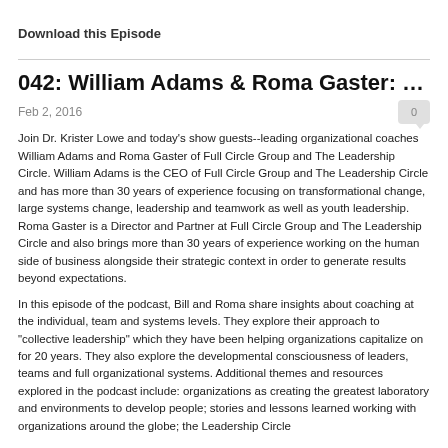Download this Episode
042: William Adams & Roma Gaster: The Le…
Feb 2, 2016
Join Dr. Krister Lowe and today's show guests--leading organizational coaches William Adams and Roma Gaster of Full Circle Group and The Leadership Circle. William Adams is the CEO of Full Circle Group and The Leadership Circle and has more than 30 years of experience focusing on transformational change, large systems change, leadership and teamwork as well as youth leadership. Roma Gaster is a Director and Partner at Full Circle Group and The Leadership Circle and also brings more than 30 years of experience working on the human side of business alongside their strategic context in order to generate results beyond expectations.
In this episode of the podcast, Bill and Roma share insights about coaching at the individual, team and systems levels. They explore their approach to "collective leadership" which they have been helping organizations capitalize on for 20 years. They also explore the developmental consciousness of leaders, teams and full organizational systems. Additional themes and resources explored in the podcast include: organizations as creating the greatest laboratory and environments to develop people; stories and lessons learned working with organizations around the globe; the Leadership Circle